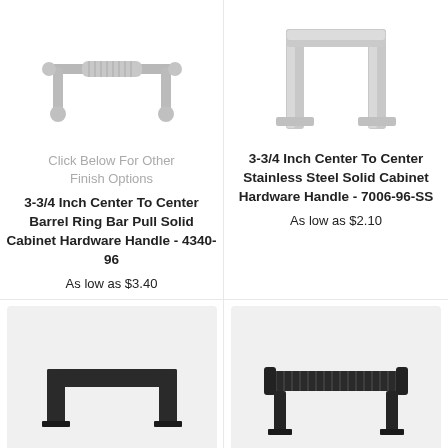[Figure (photo): Barrel ring bar pull cabinet hardware handle, T-bar style, satin nickel finish, side view]
Click Below For Other Finish Options
3-3/4 Inch Center To Center Barrel Ring Bar Pull Solid Cabinet Hardware Handle - 4340-96
As low as $3.40
[Figure (photo): Stainless steel solid cabinet hardware handle, bridge/bar style, front view showing two posts]
3-3/4 Inch Center To Center Stainless Steel Solid Cabinet Hardware Handle - 7006-96-SS
As low as $2.10
[Figure (photo): Black square bar pull cabinet hardware handle, U-shape, matte black finish]
[Figure (photo): Black ribbed/knurled bar pull cabinet hardware handle with two posts, matte black finish]